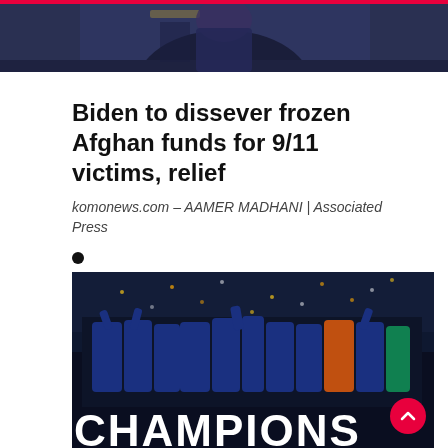[Figure (photo): Partial photo of a person in a suit with a tie, cropped at top of page]
Biden to dissever frozen Afghan funds for 9/11 victims, relief
komonews.com – AAMER MADHANI | Associated Press
•
[Figure (photo): Soccer team celebrating a championship win, players in blue uniforms raising a trophy with confetti, text CHAMPIONS visible at bottom]